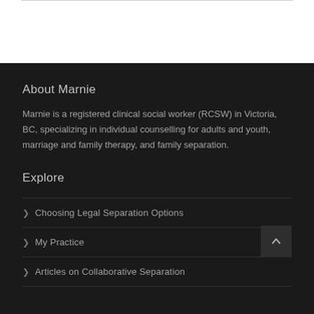About Marnie
Marnie is a registered clinical social worker (RCSW) in Victoria, BC, specializing in individual counselling for adults and youth, marriage and family therapy, and family separation.
Explore
Choosing Legal Separation Options
My Practice
Articles on Collaborative Separation